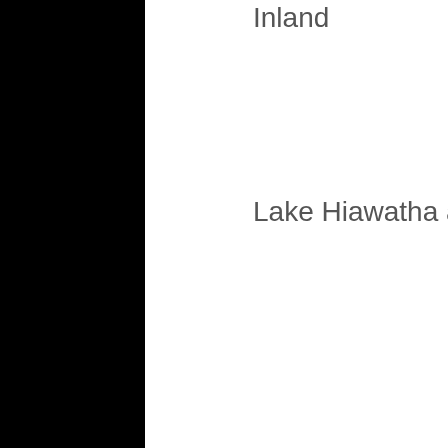Inland
Lake Hiawatha and Wooli